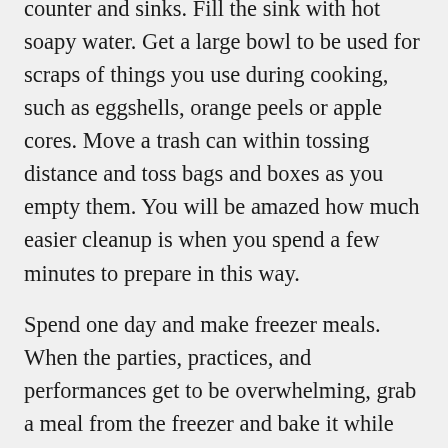When baking or cooking, begin with a clean counter and sinks. Fill the sink with hot soapy water. Get a large bowl to be used for scraps of things you use during cooking, such as eggshells, orange peels or apple cores. Move a trash can within tossing distance and toss bags and boxes as you empty them. You will be amazed how much easier cleanup is when you spend a few minutes to prepare in this way.
Spend one day and make freezer meals. When the parties, practices, and performances get to be overwhelming, grab a meal from the freezer and bake it while you wrap gifts or dress for the night's activities. As you prepare foods, double the recipe and freeze the extra.
Prepare your holiday feast in advance. Bake your turkey or ham and reheat. Prepare appetizers and